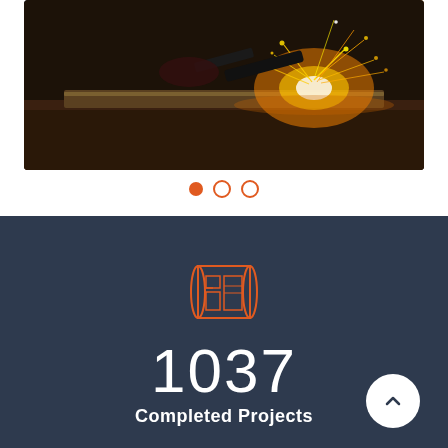[Figure (photo): Industrial welding or grinding photo showing bright orange and yellow sparks against a dark background, close-up of metalworking process]
[Figure (infographic): Carousel navigation dots: one filled orange dot (active) and two empty orange-outlined dots]
[Figure (infographic): Blueprint/plans icon in orange outline style on dark navy background, showing rolled architectural or engineering drawings]
1037
Completed Projects